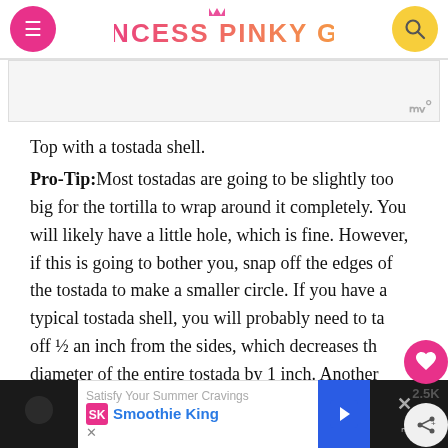PRINCESS PINKY GIRL
[Figure (other): Advertisement placeholder area with Mediavine logo watermark]
Top with a tostada shell.
Pro-Tip: Most tostadas are going to be slightly too big for the tortilla to wrap around it completely. You will likely have a little hole, which is fine. However, if this is going to bother you, snap off the edges of the tostada to make a smaller circle. If you have a typical tostada shell, you will probably need to take off ½ an inch from the sides, which decreases the diameter of the entire tostada by 1 inch. Another option is...
[Figure (other): Smoothie King advertisement banner at bottom: 'Satisfy Your Summer Cravings' with Smoothie King branding and navigation arrow icon]